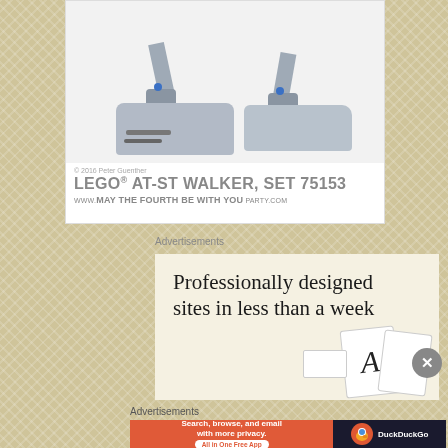[Figure (photo): LEGO AT-ST Walker Set 75153 promotional image showing the feet/legs of the AT-ST walker model on a white background with copyright text and branding]
Advertisements
[Figure (screenshot): Advertisement: 'Professionally designed sites in less than a week' with card design imagery]
Advertisements
[Figure (screenshot): DuckDuckGo advertisement: 'Search, browse, and email with more privacy. All in One Free App' with DuckDuckGo logo]